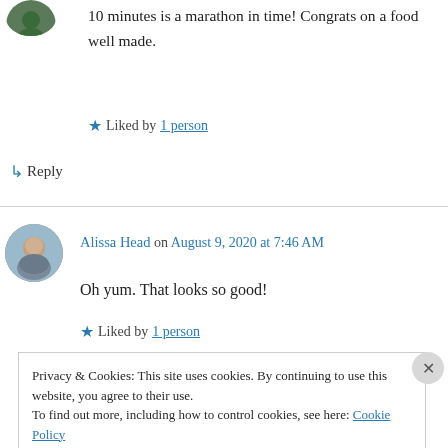[Figure (photo): Partial avatar circle (green/dark) at top left, partially cropped]
10 minutes is a marathon in time! Congrats on a food well made.
★ Liked by 1 person
↳ Reply
Alissa Head on August 9, 2020 at 7:46 AM
[Figure (photo): Avatar photo of Alissa Head - person in winter clothing]
Oh yum. That looks so good!
★ Liked by 1 person
Privacy & Cookies: This site uses cookies. By continuing to use this website, you agree to their use.
To find out more, including how to control cookies, see here: Cookie Policy
Close and accept